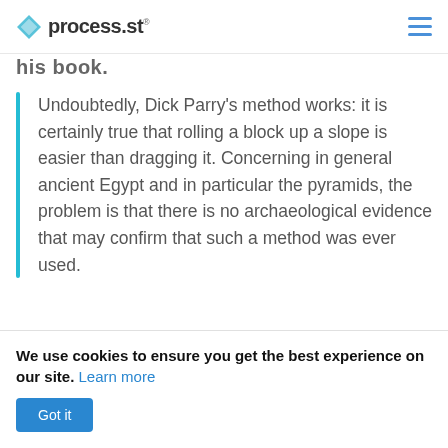process.st
his book.
Undoubtedly, Dick Parry's method works: it is certainly true that rolling a block up a slope is easier than dragging it. Concerning in general ancient Egypt and in particular the pyramids, the problem is that there is no archaeological evidence that may confirm that such a method was ever used.
[Figure (photo): Horizontal strip showing an ancient Egyptian papyrus or artifact, appearing as a long thin band with aged brownish/tan tones.]
We use cookies to ensure you get the best experience on our site. Learn more
Got it